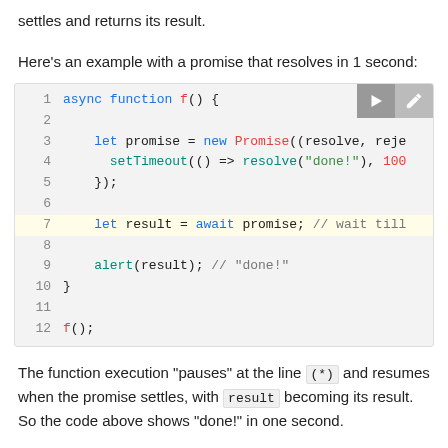settles and returns its result.
Here's an example with a promise that resolves in 1 second:
[Figure (screenshot): Code block showing an async function f() with a Promise that resolves after 1 second using setTimeout, with line 7 highlighted showing 'let result = await promise; // wait till']
The function execution "pauses" at the line (*) and resumes when the promise settles, with result becoming its result. So the code above shows "done!" in one second.